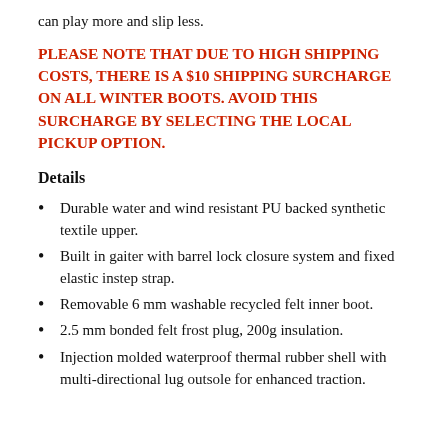can play more and slip less.
PLEASE NOTE THAT DUE TO HIGH SHIPPING COSTS, THERE IS A $10 SHIPPING SURCHARGE ON ALL WINTER BOOTS. AVOID THIS SURCHARGE BY SELECTING THE LOCAL PICKUP OPTION.
Details
Durable water and wind resistant PU backed synthetic textile upper.
Built in gaiter with barrel lock closure system and fixed elastic instep strap.
Removable 6 mm washable recycled felt inner boot.
2.5 mm bonded felt frost plug, 200g insulation.
Injection molded waterproof thermal rubber shell with multi-directional lug outsole for enhanced traction.